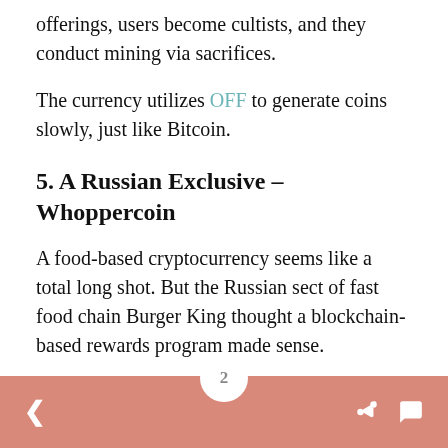offerings, users become cultists, and they conduct mining via sacrifices.
The currency utilizes OFF to generate coins slowly, just like Bitcoin.
5. A Russian Exclusive – Whoppercoin
A food-based cryptocurrency seems like a total long shot. But the Russian sect of fast food chain Burger King thought a blockchain-based rewards program made sense.
So, they instituted a program where customers earn a Whoppercoin for every ruble they spend. When you get 1,700 Whoppercoins. you get a free burger.
2